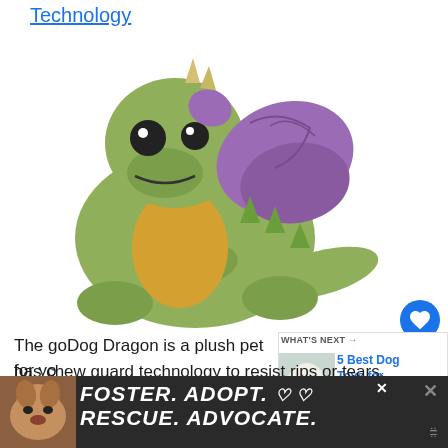Technology
[Figure (photo): Green plush dragon toy (goDog Dragon) with purple wings, sitting pose, yellow chest area, black eyes]
The goDog Dragon is a plush pet for yo... has chew guard technology to resist rips or tears. There is a squeaker inside the dragon to attack...
[Figure (photo): What's Next panel showing a fluffy white dog with text '5 Best Dog Toys for...']
[Figure (infographic): Advertisement banner: FOSTER. ADOPT. RESCUE. ADVOCATE. with dog photo on left and close/X buttons on right]